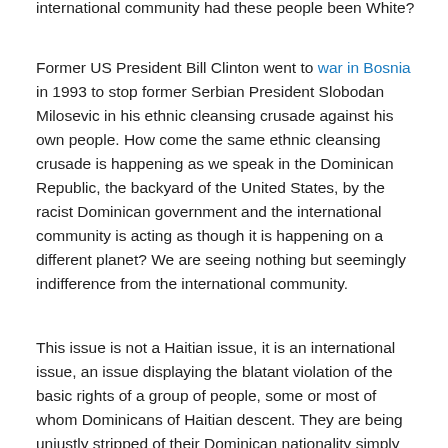international community had these people been White?
Former US President Bill Clinton went to war in Bosnia in 1993 to stop former Serbian President Slobodan Milosevic in his ethnic cleansing crusade against his own people. How come the same ethnic cleansing crusade is happening as we speak in the Dominican Republic, the backyard of the United States, by the racist Dominican government and the international community is acting as though it is happening on a different planet? We are seeing nothing but seemingly indifference from the international community.
This issue is not a Haitian issue, it is an international issue, an issue displaying the blatant violation of the basic rights of a group of people, some or most of whom Dominicans of Haitian descent. They are being unjustly stripped of their Dominican nationality simply because of